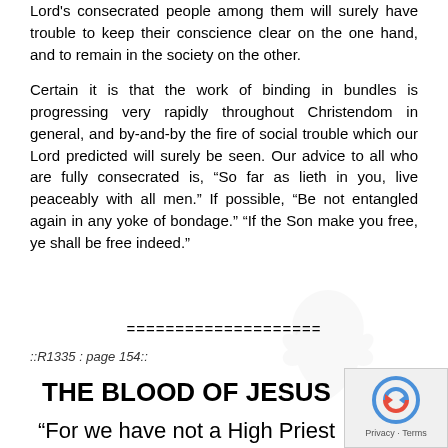Lord's consecrated people among them will surely have trouble to keep their conscience clear on the one hand, and to remain in the society on the other.
Certain it is that the work of binding in bundles is progressing very rapidly throughout Christendom in general, and by-and-by the fire of social trouble which our Lord predicted will surely be seen. Our advice to all who are fully consecrated is, “So far as lieth in you, live peaceably with all men.” If possible, “Be not entangled again in any yoke of bondage.” “If the Son make you free, ye shall be free indeed.”
====================
::R1335 : page 154::
THE BLOOD OF JESUS
“For we have not a High Priest